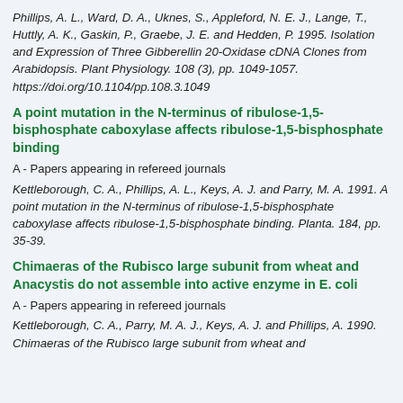Phillips, A. L., Ward, D. A., Uknes, S., Appleford, N. E. J., Lange, T., Huttly, A. K., Gaskin, P., Graebe, J. E. and Hedden, P. 1995. Isolation and Expression of Three Gibberellin 20-Oxidase cDNA Clones from Arabidopsis. Plant Physiology. 108 (3), pp. 1049-1057. https://doi.org/10.1104/pp.108.3.1049
A point mutation in the N-terminus of ribulose-1,5-bisphosphate caboxylase affects ribulose-1,5-bisphosphate binding
A - Papers appearing in refereed journals
Kettleborough, C. A., Phillips, A. L., Keys, A. J. and Parry, M. A. 1991. A point mutation in the N-terminus of ribulose-1,5-bisphosphate caboxylase affects ribulose-1,5-bisphosphate binding. Planta. 184, pp. 35-39.
Chimaeras of the Rubisco large subunit from wheat and Anacystis do not assemble into active enzyme in E. coli
A - Papers appearing in refereed journals
Kettleborough, C. A., Parry, M. A. J., Keys, A. J. and Phillips, A. 1990. Chimaeras of the Rubisco large subunit from wheat and...